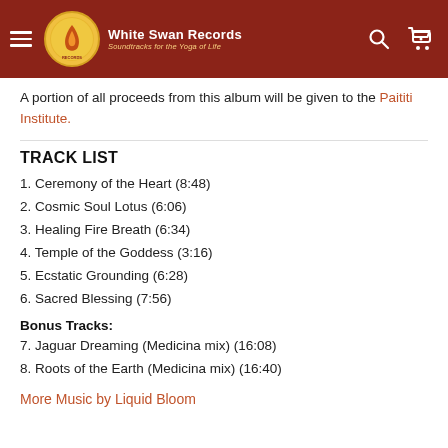White Swan Records — Soundtracks for the Yoga of Life
A portion of all proceeds from this album will be given to the Paititi Institute.
TRACK LIST
1. Ceremony of the Heart (8:48)
2. Cosmic Soul Lotus (6:06)
3. Healing Fire Breath (6:34)
4. Temple of the Goddess (3:16)
5. Ecstatic Grounding (6:28)
6. Sacred Blessing (7:56)
Bonus Tracks:
7. Jaguar Dreaming (Medicina mix) (16:08)
8. Roots of the Earth (Medicina mix) (16:40)
More Music by Liquid Bloom